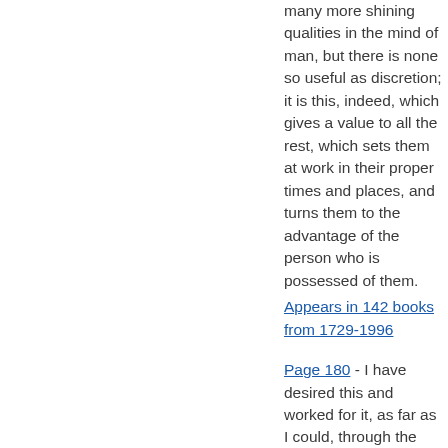many more shining qualities in the mind of man, but there is none so useful as discretion; it is this, indeed, which gives a value to all the rest, which sets them at work in their proper times and places, and turns them to the advantage of the person who is possessed of them.
Appears in 142 books from 1729-1996
Page 180 - I have desired this and worked for it, as far as I could, through the last Balkan crisis, and, Germany having a corresponding object, our relations sensibly improved. The